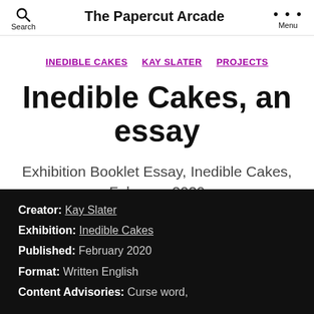The Papercut Arcade
INEDIBLE CAKES  KAY SLATER  PROJECTS
Inedible Cakes, an essay
Exhibition Booklet Essay, Inedible Cakes, February 2020
| Creator: | Kay Slater |
| Exhibition: | Inedible Cakes |
| Published: | February 2020 |
| Format: | Written English |
| Content Advisories: | Curse word, |